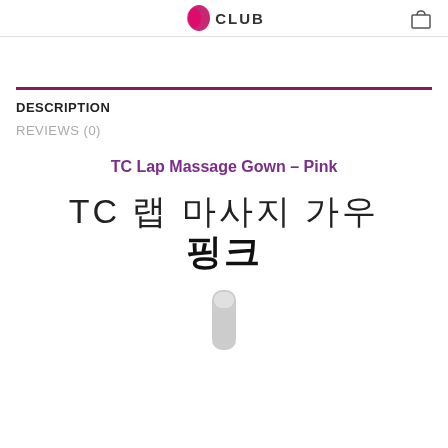CLUB
DESCRIPTION
REVIEWS (0)
TC Lap Massage Gown – Pink
TC 랩 마사지 가운 핑크
[Figure (photo): Bottom portion of a product — a small cylindrical device, partially visible at the bottom of the page]